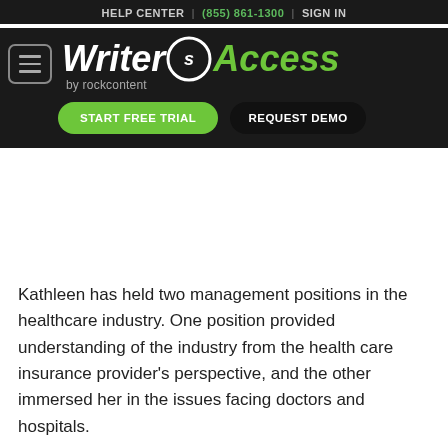HELP CENTER | (855) 861-1300 | SIGN IN
[Figure (logo): WriterAccess by rockcontent logo with hamburger menu button, START FREE TRIAL green button, and REQUEST DEMO dark button]
Kathleen has held two management positions in the healthcare industry. One position provided understanding of the industry from the health care insurance provider's perspective, and the other immersed her in the issues facing doctors and hospitals.
Kathleen brings a depth of understanding to the task of writing on healthcare issues. With her experience in the industry, and her well-honed research and writing skills, Kathleen excels when writing on healthcare issues.
Business